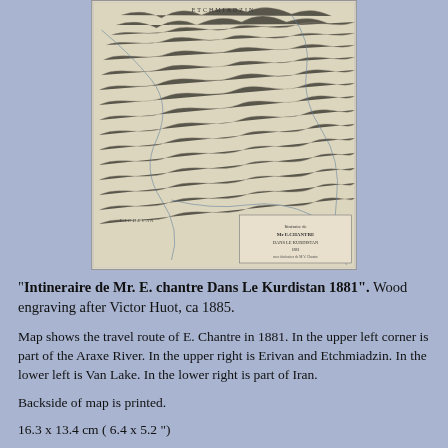[Figure (map): Antique engraved map titled 'Intineraire de Mr. E. Chantre Dans le Kurdistan 1881', showing mountainous terrain with rivers, lakes, and place names. Wood engraving after Victor Huot, ca 1885.]
"Intineraire de Mr. E. chantre Dans Le Kurdistan 1881". Wood engraving after Victor Huot, ca 1885.
Map shows the travel route of E. Chantre in 1881. In the upper left corner is part of the Araxe River. In the upper right is Erivan and Etchmiadzin. In the lower left is Van Lake. In the lower right is part of Iran.
Backside of map is printed.
16.3 x 13.4 cm ( 6.4 x 5.2 ")